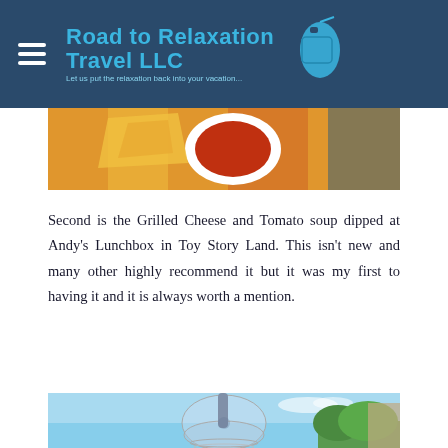Road to Relaxation Travel LLC — Let us put the relaxation back into your vacation...
[Figure (photo): Top portion of a food photo showing grilled cheese and tomato soup, partially cropped at top of content area]
Second is the Grilled Cheese and Tomato soup dipped at Andy's Lunchbox in Toy Story Land. This isn't new and many other highly recommend it but it was my first to having it and it is always worth a mention.
[Figure (photo): Photo of a large domed drink cup with a straw, photographed against a bright blue sky with green trees and a building visible in the background, taken at a Disney theme park]